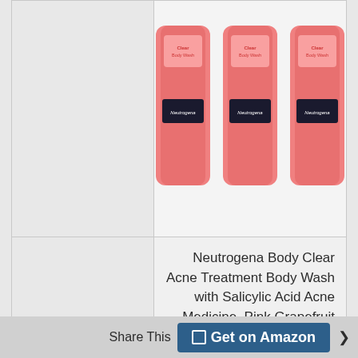[Figure (photo): Three bottles of Neutrogena Body Clear Body Wash (pink grapefruit) shown side by side]
| Label | Value |
| --- | --- |
| Product Name | Neutrogena Body Clear Acne Treatment Body Wash with Salicylic Acid Acne Medicine, Pink Grapefruit Body Acne Cleanser to Prevent Breakouts on Back, Chest & Shoulders, 8.5 fl. oz (Pack of 3) |
| Our Rating | 8.9 |
Share This  Get on Amazon